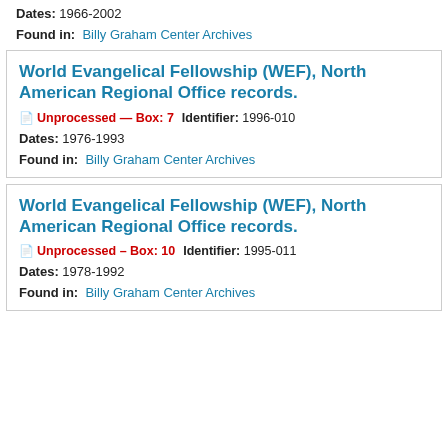Dates: 1966-2002
Found in: Billy Graham Center Archives
World Evangelical Fellowship (WEF), North American Regional Office records.
Unprocessed — Box: 7    Identifier: 1996-010
Dates: 1976-1993
Found in: Billy Graham Center Archives
World Evangelical Fellowship (WEF), North American Regional Office records.
Unprocessed — Box: 10    Identifier: 1995-011
Dates: 1978-1992
Found in: Billy Graham Center Archives